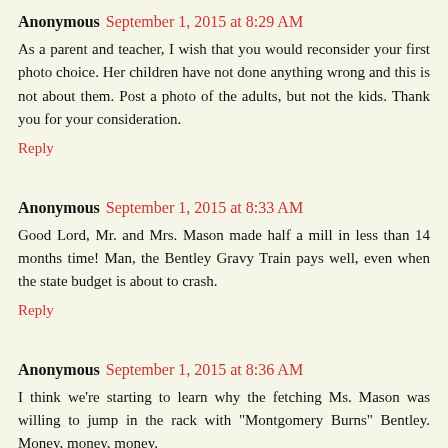Anonymous September 1, 2015 at 8:29 AM
As a parent and teacher, I wish that you would reconsider your first photo choice. Her children have not done anything wrong and this is not about them. Post a photo of the adults, but not the kids. Thank you for your consideration.
Reply
Anonymous September 1, 2015 at 8:33 AM
Good Lord, Mr. and Mrs. Mason made half a mill in less than 14 months time! Man, the Bentley Gravy Train pays well, even when the state budget is about to crash.
Reply
Anonymous September 1, 2015 at 8:36 AM
I think we're starting to learn why the fetching Ms. Mason was willing to jump in the rack with "Montgomery Burns" Bentley. Money, money, money.